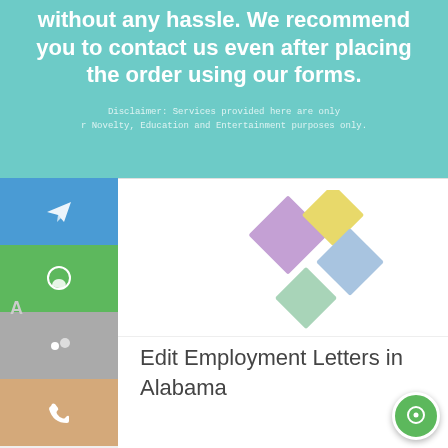without any hassle. We recommend you to contact us even after placing the order using our forms.
Disclaimer: Services provided here are only for Novelty, Education and Entertainment purposes only.
[Figure (logo): Colorful diamond/rhombus logo made of four rotated squares: purple, yellow, blue, and green arranged in a cross/plus pattern]
Edit Employment Letters in Alabama